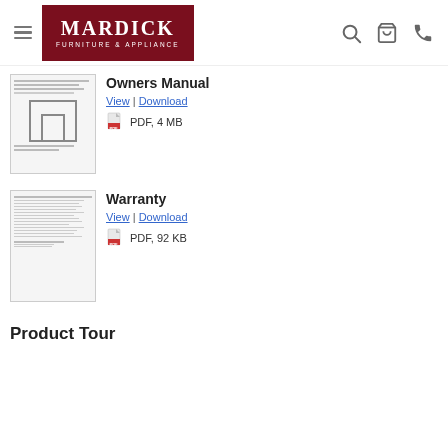Mardick Furniture & Appliance
Owners Manual
View | Download
PDF, 4 MB
Warranty
View | Download
PDF, 92 KB
Product Tour